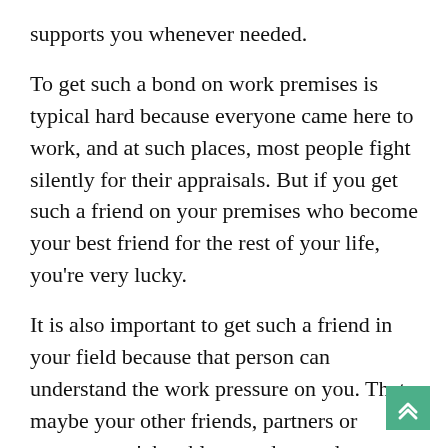supports you whenever needed.
To get such a bond on work premises is typical hard because everyone came here to work, and at such places, most people fight silently for their appraisals. But if you get such a friend on your premises who become your best friend for the rest of your life, you're very lucky.
It is also important to get such a friend in your field because that person can understand the work pressure on you. That maybe your other friends, partners or parents won't be able to understand.
People are very different in their personal and professional lives. Human beings never sustain without any bond, so a colleague's friendship is unique. As any other kind of love (here, we express love as respect, friendship, and admiration).